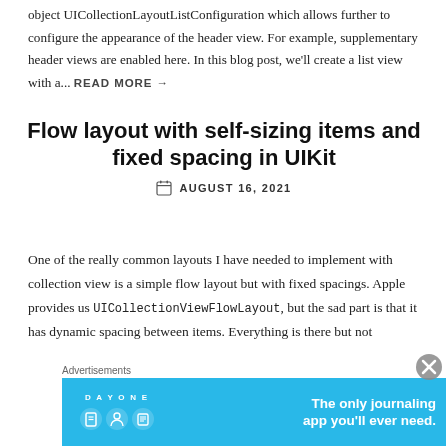object UICollectionLayoutListConfiguration which allows further to configure the appearance of the header view. For example, supplementary header views are enabled here. In this blog post, we'll create a list view with a... READ MORE →
Flow layout with self-sizing items and fixed spacing in UIKit
AUGUST 16, 2021
One of the really common layouts I have needed to implement with collection view is a simple flow layout but with fixed spacings. Apple provides us UICollectionViewFlowLayout, but the sad part is that it has dynamic spacing between items. Everything is there but not
Advertisements
[Figure (screenshot): DayOne app advertisement banner: 'The only journaling app you'll ever need.' with app icons on blue background]